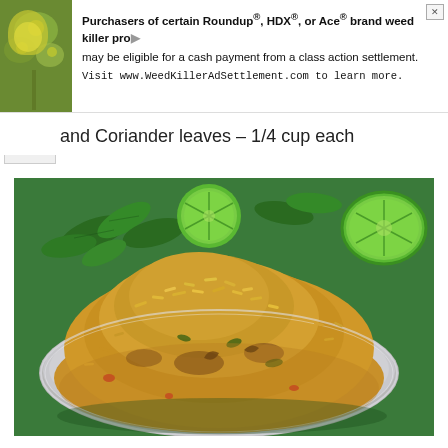[Figure (photo): Advertisement banner with plant/flower image on left and text about Roundup/HDX/Ace brand weed killer class action settlement on right]
and Coriander leaves – 1/4 cup each
[Figure (photo): Food photo of biryani/spiced rice dish served on a silver oval plate, garnished, on a green background with mint leaves and lime/lemon halves visible in the background]